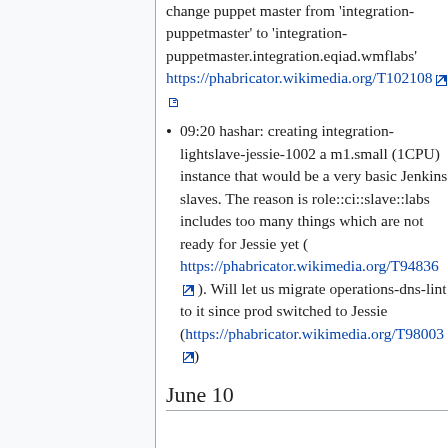change puppet master from 'integration-puppetmaster' to 'integration-puppetmaster.integration.eqiad.wmflabs' https://phabricator.wikimedia.org/T102108
09:20 hashar: creating integration-lightslave-jessie-1002 a m1.small (1CPU) instance that would be a very basic Jenkins slaves. The reason is role::ci::slave::labs includes too many things which are not ready for Jessie yet ( https://phabricator.wikimedia.org/T94836 ). Will let us migrate operations-dns-lint to it since prod switched to Jessie (https://phabricator.wikimedia.org/T98003)
June 10